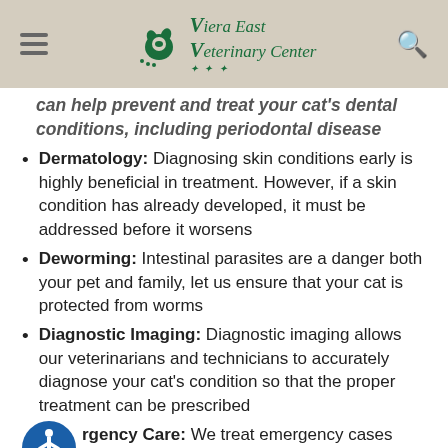Viera East Veterinary Center
can help prevent and treat your cat's dental conditions, including periodontal disease
Dermatology: Diagnosing skin conditions early is highly beneficial in treatment. However, if a skin condition has already developed, it must be addressed before it worsens
Deworming: Intestinal parasites are a danger both your pet and family, let us ensure that your cat is protected from worms
Diagnostic Imaging: Diagnostic imaging allows our veterinarians and technicians to accurately diagnose your cat's condition so that the proper treatment can be prescribed
Emergency Care: We treat emergency cases during regular office hours and have local emergency